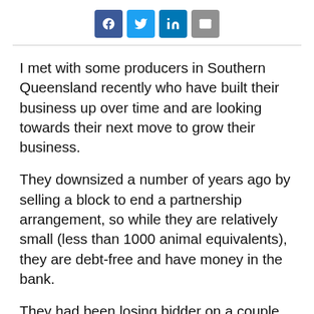[Figure (other): Social sharing buttons: Facebook, Twitter, LinkedIn, Email]
I met with some producers in Southern Queensland recently who have built their business up over time and are looking towards their next move to grow their business.
They downsized a number of years ago by selling a block to end a partnership arrangement, so while they are relatively small (less than 1000 animal equivalents), they are debt-free and have money in the bank.
They had been losing bidder on a couple of blocks and said that even though land prices in their chosen area have dropped, they could not make the sums work at the prices the block...